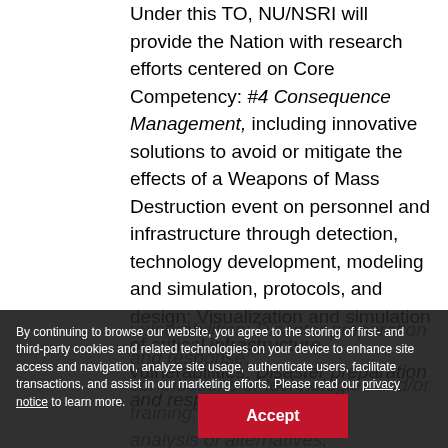Under this TO, NU/NSRI will provide the Nation with research efforts centered on Core Competency: #4 Consequence Management, including innovative solutions to avoid or mitigate the effects of a Weapons of Mass Destruction event on personnel and infrastructure through detection, technology development, modeling and simulation, protocols, and design; Visualization and simulation of critical infrastructure vulnerabilities; Disaster preparation and response; contributions of technologies and/or training; analysis of alternatives; experimentation and exploration of system vulnerabilities; and decision-making support tools to analyze complex data, assess risk exposure, and visualize impacts. Consequence management includes providing solutions to the challenges of
By continuing to browse our website, you agree to the storing of first- and third-party cookies and related technologies on your device to enhance site access and navigation, analyze site usage, authenticate users, facilitate transactions, and assist in our marketing efforts. Please read our privacy notice to learn more.